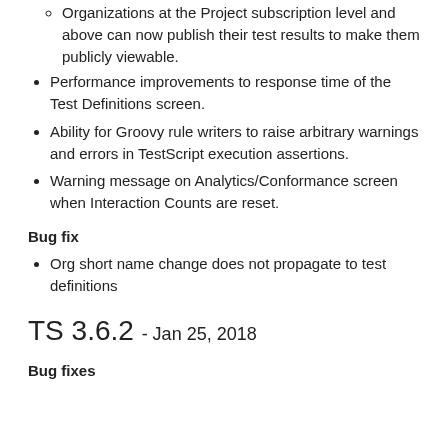Organizations at the Project subscription level and above can now publish their test results to make them publicly viewable.
Performance improvements to response time of the Test Definitions screen.
Ability for Groovy rule writers to raise arbitrary warnings and errors in TestScript execution assertions.
Warning message on Analytics/Conformance screen when Interaction Counts are reset.
Bug fix
Org short name change does not propagate to test definitions
TS 3.6.2 - Jan 25, 2018
Bug fixes